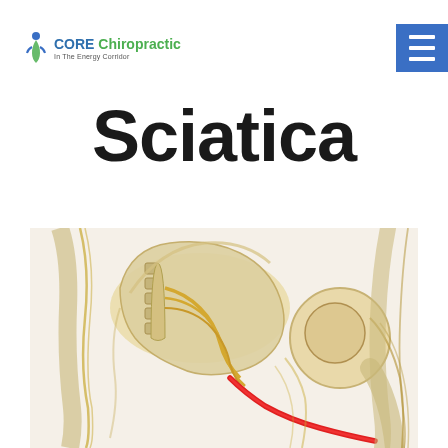CORE Chiropractic In The Energy Corridor
Sciatica
[Figure (illustration): Medical illustration showing the sciatic nerve pathway through the pelvis and hip region, with bones (ilium, femur), nerves rendered in golden/yellow tones, and a highlighted red sciatic nerve running down the leg.]